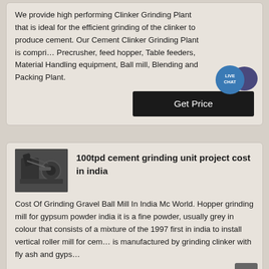We provide high performing Clinker Grinding Plant that is ideal for the efficient grinding of the clinker to produce cement. Our Cement Clinker Grinding Plant is comprised Precrusher, feed hopper, Table feeders, Material Handling equipment, Ball mill, Blending and Packing Plant.
[Figure (other): Live Chat speech bubble badge with teal circle]
Get Price
[Figure (photo): Industrial grinding machinery photo thumbnail]
100tpd cement grinding unit project cost in india
Cost Of Grinding Gravel Ball Mill In India Mc World. Hopper grinding mill for gypsum powder india it is a fine powder, usually grey in colour that consists of a mixture of the 1997 first in india to install vertical roller mill for cement is manufactured by grinding clinker with fly ash and gypsum